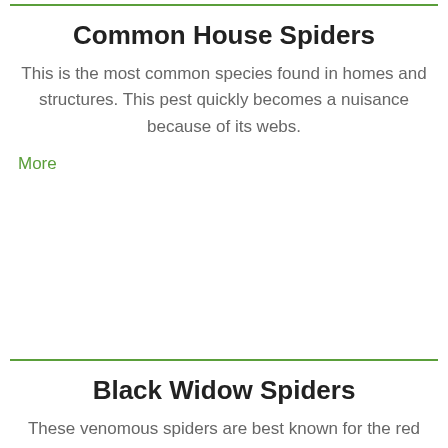Common House Spiders
This is the most common species found in homes and structures. This pest quickly becomes a nuisance because of its webs.
More
Black Widow Spiders
These venomous spiders are best known for the red